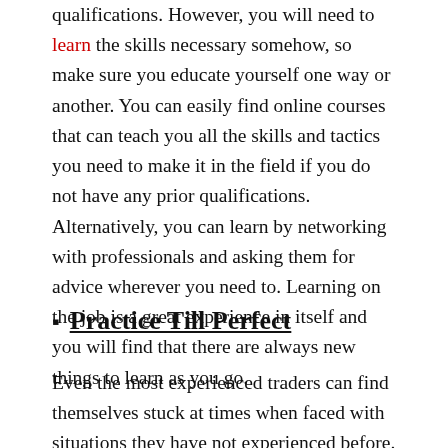qualifications. However, you will need to learn the skills necessary somehow, so make sure you educate yourself one way or another. You can easily find online courses that can teach you all the skills and tactics you need to make it in the field if you do not have any prior qualifications. Alternatively, you can learn by networking with professionals and asking them for advice wherever you need to. Learning on the job is a great experience in itself and you will find that there are always new things to learn as you go.
Practice Till Perfect
Even the most experienced traders can find themselves stuck at times when faced with situations they have not experienced before. This is why you should never be discouraged at the beginning of your career if you only have a simple...